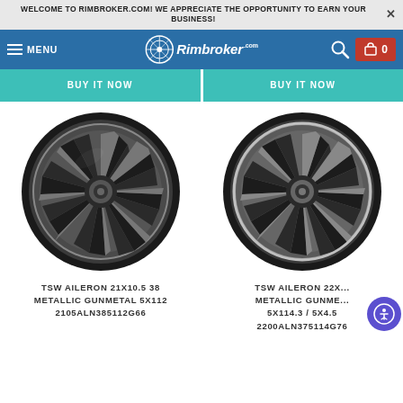WELCOME TO RIMBROKER.COM! WE APPRECIATE THE OPPORTUNITY TO EARN YOUR BUSINESS!
[Figure (screenshot): RimBroker.com navigation bar with hamburger menu, logo, search icon, and cart button showing 0 items]
BUY IT NOW
BUY IT NOW
[Figure (photo): TSW Aileron wheel in Metallic Gunmetal finish, multi-spoke design, left product]
[Figure (photo): TSW Aileron wheel in Metallic Gunmetal finish, multi-spoke design, right product]
TSW AILERON 21X10.5 38 METALLIC GUNMETAL 5X112 2105ALN385112G66
TSW AILERON 22X... METALLIC GUNME... 5X114.3 / 5X4.5 2200ALN375114G76